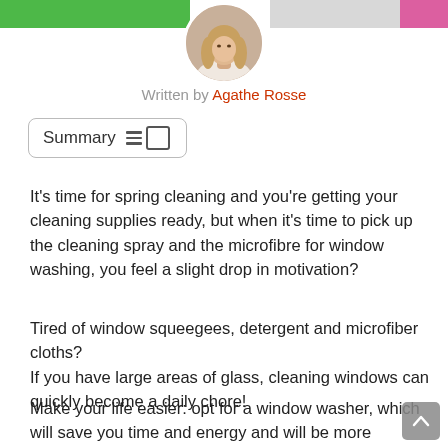[Figure (photo): Author circular profile photo of a woman with long blonde hair, shown from shoulders up, outdoors with greenery background]
Written by Agathe Rosse
Summary
It’s time for spring cleaning and you’re getting your cleaning supplies ready, but when it’s time to pick up the cleaning spray and the microfibre for window washing, you feel a slight drop in motivation?
Tired of window squeegees, detergent and microfiber cloths?
If you have large areas of glass, cleaning windows can quickly become a daily chore!
Make your life easier: opt for a window washer, which will save you time and energy and will be more effective in